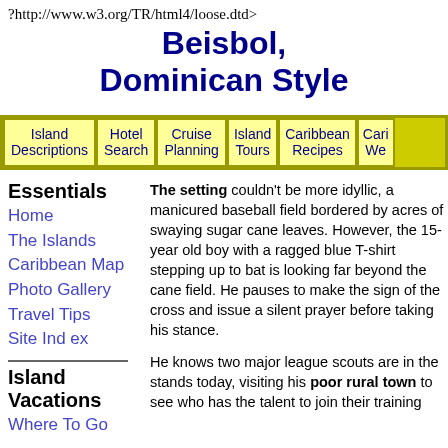?http://www.w3.org/TR/html4/loose.dtd>
Beisbol, Dominican Style
| Island Descriptions | Hotel Search | Cruise Planning | Island Tours | Caribbean Recipes | Cari We... |
| --- | --- | --- | --- | --- | --- |
Essentials
Home
The Islands
Caribbean Map
Photo Gallery
Travel Tips
Site Ind ex
Island Vacations
Where To Go
The setting couldn't be more idyllic, a manicured baseball field bordered by acres of swaying sugar cane leaves. However, the 15-year old boy with a ragged blue T-shirt stepping up to bat is looking far beyond the cane field. He pauses to make the sign of the cross and issue a silent prayer before taking his stance.
He knows two major league scouts are in the stands today, visiting his poor rural town to see who has the talent to join their training...